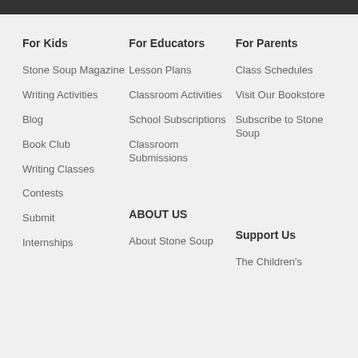For Kids
Stone Soup Magazine
Writing Activities
Blog
Book Club
Writing Classes
Contests
Submit
Internships
For Educators
Lesson Plans
Classroom Activities
School Subscriptions
Classroom Submissions
ABOUT US
About Stone Soup
For Parents
Class Schedules
Visit Our Bookstore
Subscribe to Stone Soup
Support Us
The Children's